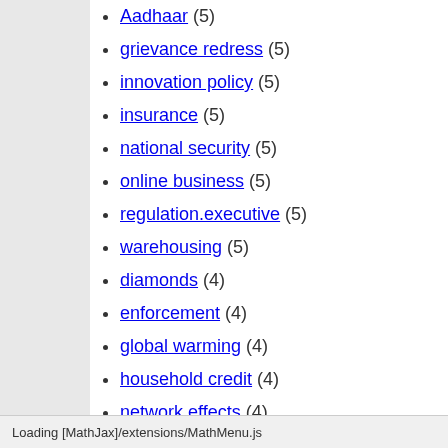Aadhaar (5)
grievance redress (5)
innovation policy (5)
insurance (5)
national security (5)
online business (5)
regulation.executive (5)
warehousing (5)
diamonds (4)
enforcement (4)
global warming (4)
household credit (4)
network effects (4)
tax administration (4)
taxation (4)
telecom policy (3)
Loading [MathJax]/extensions/MathMenu.js